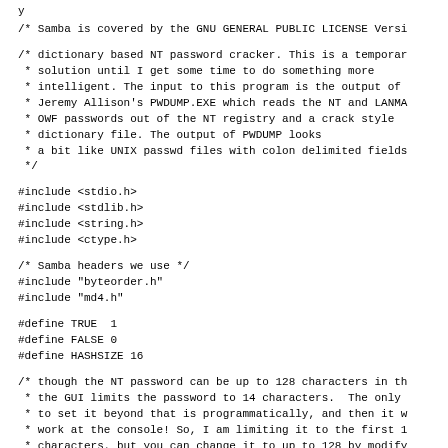/* Samba is covered by the GNU GENERAL PUBLIC LICENSE Versi
/* dictionary based NT password cracker. This is a temporar
 * solution until I get some time to do something more
 * intelligent. The input to this program is the output of
 * Jeremy Allison's PWDUMP.EXE which reads the NT and LANMA
 * OWF passwords out of the NT registry and a crack style
 * dictionary file. The output of PWDUMP looks
 * a bit like UNIX passwd files with colon delimited fields
 */
#include <stdio.h>
#include <stdlib.h>
#include <string.h>
#include <ctype.h>
/* Samba headers we use */
#include "byteorder.h"
#include "md4.h"
#define TRUE  1
#define FALSE 0
#define HASHSIZE 16
/* though the NT password can be up to 128 characters in th
 * the GUI limits the password to 14 characters.  The only
 * to set it beyond that is programmatically, and then it w
 * work at the console! So, I am limiting it to the first 1
 * characters, but you can change it to up to 128 by modify
 * MAX_PASSWORD_LENGTH